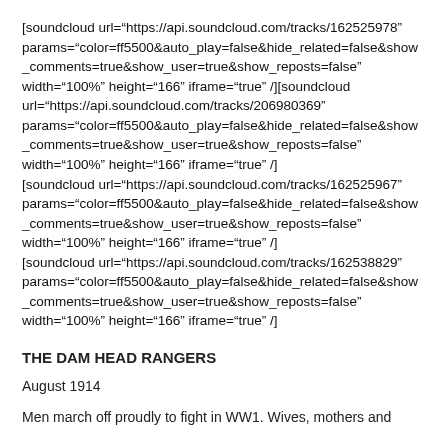[soundcloud url="https://api.soundcloud.com/tracks/162525978" params="color=ff5500&auto_play=false&hide_related=false&show_comments=true&show_user=true&show_reposts=false" width="100%" height="166" iframe="true" /][soundcloud url="https://api.soundcloud.com/tracks/206980369" params="color=ff5500&auto_play=false&hide_related=false&show_comments=true&show_user=true&show_reposts=false" width="100%" height="166" iframe="true" /] [soundcloud url="https://api.soundcloud.com/tracks/162525967" params="color=ff5500&auto_play=false&hide_related=false&show_comments=true&show_user=true&show_reposts=false" width="100%" height="166" iframe="true" /] [soundcloud url="https://api.soundcloud.com/tracks/162538829" params="color=ff5500&auto_play=false&hide_related=false&show_comments=true&show_user=true&show_reposts=false" width="100%" height="166" iframe="true" /]
THE DAM HEAD RANGERS
August 1914
Men march off proudly to fight in WW1. Wives, mothers and